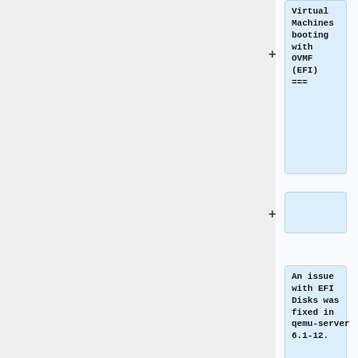Virtual Machines booting with OVMF (EFI) ===
An issue with EFI Disks was fixed in qemu-server 6.1-12.
An EFI disk on a storage which doesn't allow for small (128 KB) images (for